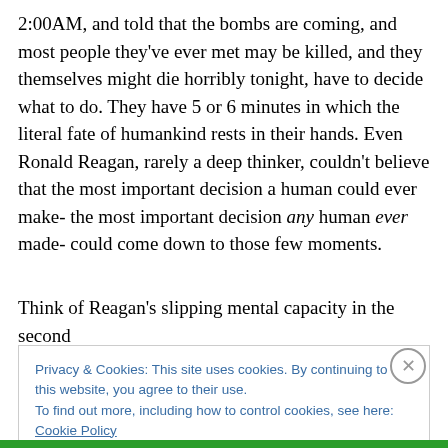2:00AM, and told that the bombs are coming, and most people they've ever met may be killed, and they themselves might die horribly tonight, have to decide what to do. They have 5 or 6 minutes in which the literal fate of humankind rests in their hands. Even Ronald Reagan, rarely a deep thinker, couldn't believe that the most important decision a human could ever make- the most important decision any human ever made- could come down to those few moments.
Think of Reagan's slipping mental capacity in the second
Privacy & Cookies: This site uses cookies. By continuing to use this website, you agree to their use.
To find out more, including how to control cookies, see here: Cookie Policy